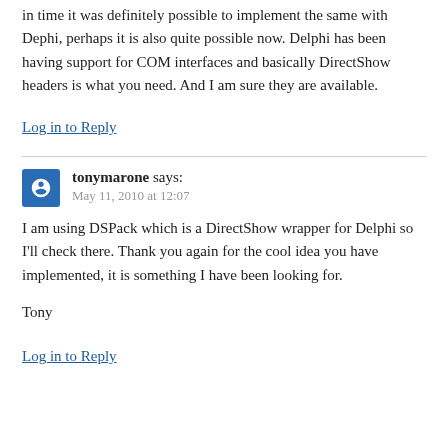in time it was definitely possible to implement the same with Dephi, perhaps it is also quite possible now. Delphi has been having support for COM interfaces and basically DirectShow headers is what you need. And I am sure they are available.
Log in to Reply
tonymarone says:
May 11, 2010 at 12:07
I am using DSPack which is a DirectShow wrapper for Delphi so I'll check there. Thank you again for the cool idea you have implemented, it is something I have been looking for.

Tony
Log in to Reply